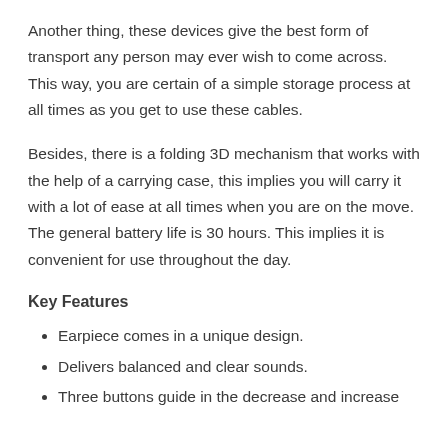Another thing, these devices give the best form of transport any person may ever wish to come across. This way, you are certain of a simple storage process at all times as you get to use these cables.
Besides, there is a folding 3D mechanism that works with the help of a carrying case, this implies you will carry it with a lot of ease at all times when you are on the move. The general battery life is 30 hours. This implies it is convenient for use throughout the day.
Key Features
Earpiece comes in a unique design.
Delivers balanced and clear sounds.
Three buttons guide in the decrease and increase